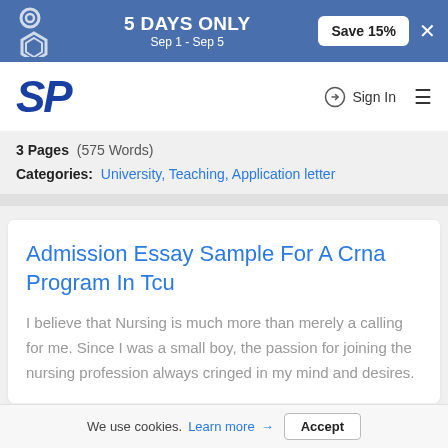5 DAYS ONLY Sep 1 - Sep 5 | Save 15%
[Figure (logo): SP StudyPool logo in blue with italic bold SP letters]
3 Pages (575 Words)
Categories: University, Teaching, Application letter
Admission Essay Sample For A Crna Program In Tcu
I believe that Nursing is much more than merely a calling for me. Since I was a small boy, the passion for joining the nursing profession always cringed in my mind and desires.
3 Pages (605 Words)
Categories: Nursing, Admission help, Application letter
We use cookies. Learn more → Accept